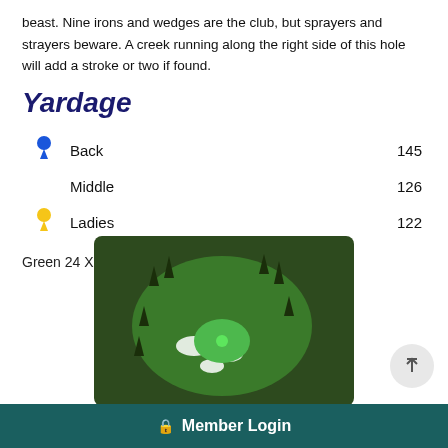beast. Nine irons and wedges are the club, but sprayers and strayers beware. A creek running along the right side of this hole will add a stroke or two if found.
Yardage
|  | Tee | Yards |
| --- | --- | --- |
| Blue pin | Back | 145 |
|  | Middle | 126 |
| Yellow pin | Ladies | 122 |
Green 24 X 25
[Figure (photo): Aerial/overhead view of a golf hole green, oval shaped, showing green grass, bunkers (white sand traps), and surrounding rough vegetation.]
Member Login